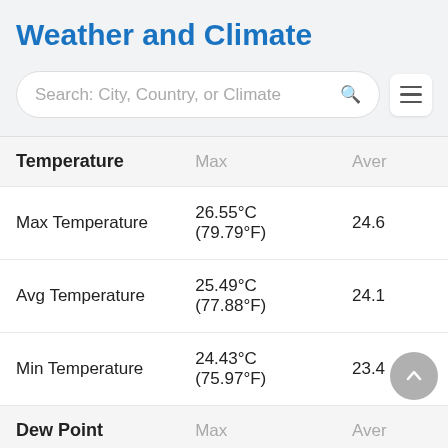Weather and Climate
[Figure (screenshot): Search bar with placeholder text: Search: City, Country, or Climate and a hamburger menu icon]
| Temperature | Max | Aver |
| --- | --- | --- |
| Max Temperature | 26.55°C (79.79°F) | 24.6 |
| Avg Temperature | 25.49°C (77.88°F) | 24.1 |
| Min Temperature | 24.43°C (75.97°F) | 23.4 |
| Dew Point | Max | Aver |
| Dew Point | 22.3°C (72.14°F) | 19.6 |
| Precipitation | Max |  |
| Precipitation | 37.91mm | 1.49in | 3.81 |